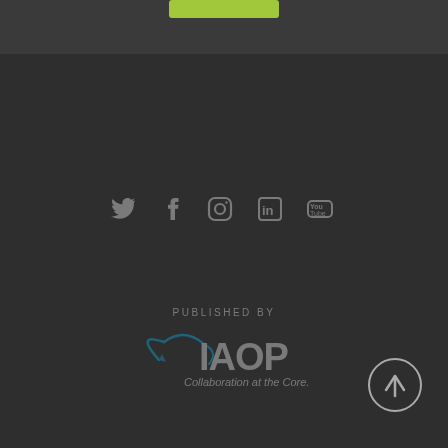[Figure (other): Green button/banner at the top of the page]
[Figure (other): Social media icons row: Twitter, Facebook, Instagram, LinkedIn, YouTube]
PUBLISHED BY
[Figure (logo): IAOP logo with tagline 'Collaboration at the Core.']
[Figure (other): Circular scroll-to-top button with upward arrow]